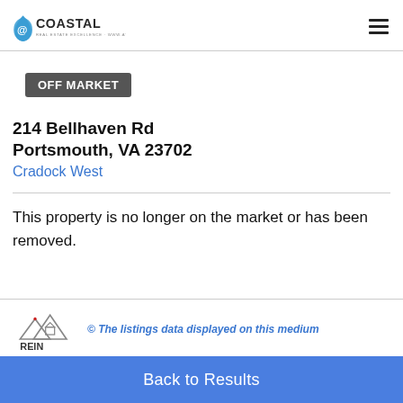@COASTAL
OFF MARKET
214 Bellhaven Rd
Portsmouth, VA 23702
Cradock West
This property is no longer on the market or has been removed.
[Figure (logo): REIN (Real Estate Information Network) logo with mountain/house graphic]
© The listings data displayed on this medium
Back to Results